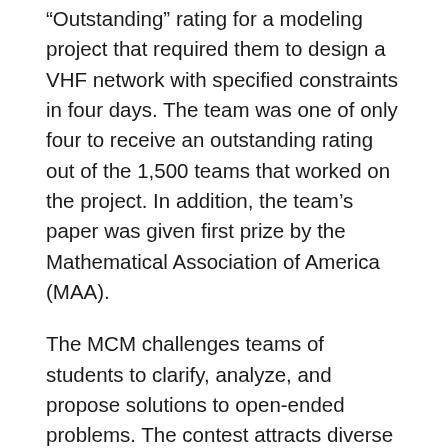“Outstanding” rating for a modeling project that required them to design a VHF network with specified constraints in four days. The team was one of only four to receive an outstanding rating out of the 1,500 teams that worked on the project. In addition, the team’s paper was given first prize by the Mathematical Association of America (MAA).
The MCM challenges teams of students to clarify, analyze, and propose solutions to open-ended problems. The contest attracts diverse students and faculty advisors from more than 500 institutions around the world.